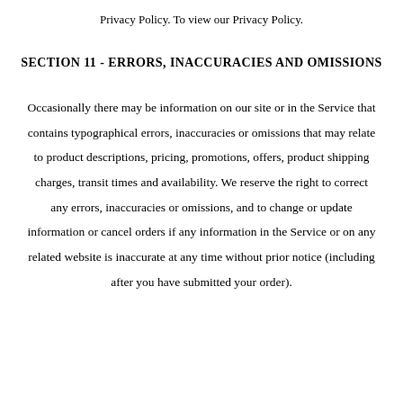Privacy Policy. To view our Privacy Policy.
SECTION 11 - ERRORS, INACCURACIES AND OMISSIONS
Occasionally there may be information on our site or in the Service that contains typographical errors, inaccuracies or omissions that may relate to product descriptions, pricing, promotions, offers, product shipping charges, transit times and availability. We reserve the right to correct any errors, inaccuracies or omissions, and to change or update information or cancel orders if any information in the Service or on any related website is inaccurate at any time without prior notice (including after you have submitted your order).